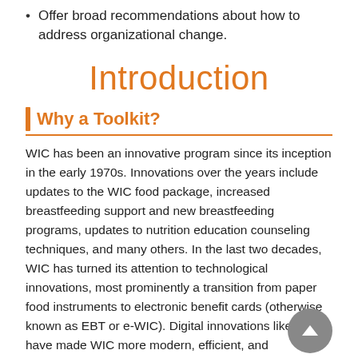Offer broad recommendations about how to address organizational change.
Introduction
Why a Toolkit?
WIC has been an innovative program since its inception in the early 1970s. Innovations over the years include updates to the WIC food package, increased breastfeeding support and new breastfeeding programs, updates to nutrition education counseling techniques, and many others. In the last two decades, WIC has turned its attention to technological innovations, most prominently a transition from paper food instruments to electronic benefit cards (otherwise known as EBT or e-WIC). Digital innovations like EBT have made WIC more modern, efficient, and